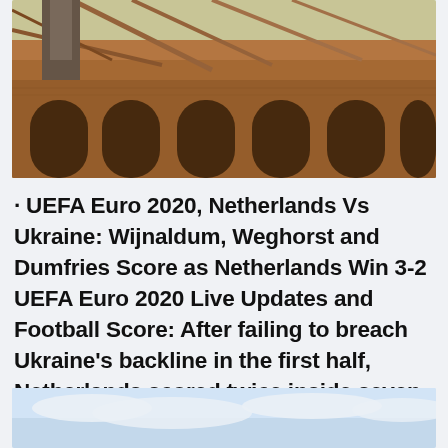[Figure (photo): Looking up at a historic brick stadium or industrial building with arched windows and a metal roof truss structure visible against a light sky.]
· UEFA Euro 2020, Netherlands Vs Ukraine: Wijnaldum, Weghorst and Dumfries Score as Netherlands Win 3-2 UEFA Euro 2020 Live Updates and Football Score: After failing to breach Ukraine's backline in the first half, Netherlands scored twice inside seven minutes to go 2-0 ahead.
[Figure (photo): Partial view of a sky with clouds, bottom of page.]